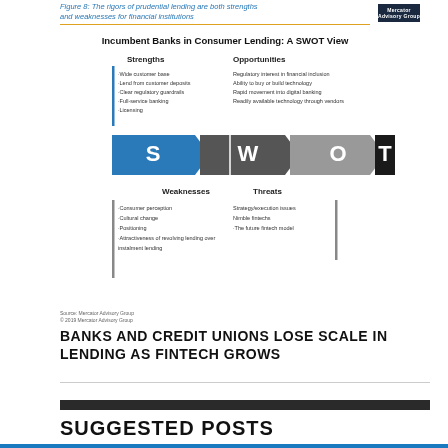Figure 8: The rigors of prudential lending are both strengths and weaknesses for financial institutions
[Figure (infographic): SWOT analysis diagram for Incumbent Banks in Consumer Lending. Strengths: Wide customer base, Lend from customer deposits, Clear regulatory guardrails, Full-service banking, Licensing. Opportunities: Regulatory interest in financial inclusion, Ability to buy or build technology, Rapid movement into digital banking, Readily available technology through vendors. Weaknesses: Consumer perception, Cultural change, Positioning, Attractiveness of revolving lending over instalment lending. Threats: Strategy/execution issues, Nimble fintechs, The future fintech model.]
Source: Mercator Advisory Group
© 2019 Mercator Advisory Group
BANKS AND CREDIT UNIONS LOSE SCALE IN LENDING AS FINTECH GROWS
SUGGESTED POSTS